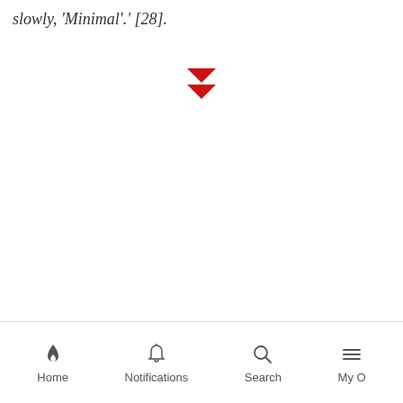slowly, 'Minimal'.' [28].
[Figure (other): Red double downward arrow / chevron icon centered on page]
Home  Notifications  Search  My O